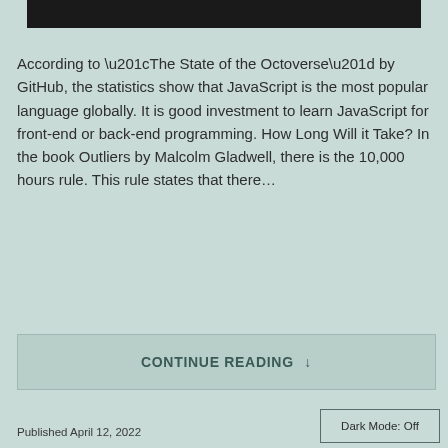[Figure (photo): Dark banner image at top of page]
According to “The State of the Octoverse” by GitHub, the statistics show that JavaScript is the most popular language globally. It is good investment to learn JavaScript for front-end or back-end programming. How Long Will it Take? In the book Outliers by Malcolm Gladwell, there is the 10,000 hours rule. This rule states that there…
CONTINUE READING ↓
Published April 12, 2022
Dark Mode: Off